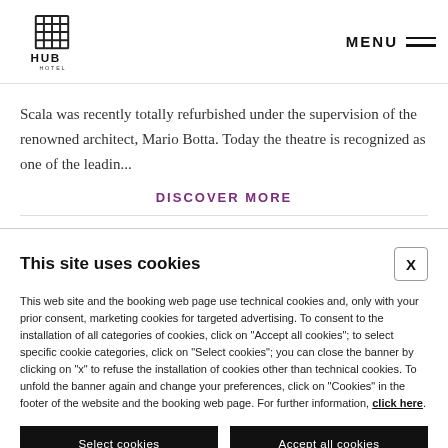THE HUB HOTEL MILANO FIERE ★★★★ — MENU
Scala was recently totally refurbished under the supervision of the renowned architect, Mario Botta. Today the theatre is recognized as one of the leadin...
DISCOVER MORE
This site uses cookies
This web site and the booking web page use technical cookies and, only with your prior consent, marketing cookies for targeted advertising. To consent to the installation of all categories of cookies, click on "Accept all cookies"; to select specific cookie categories, click on "Select cookies"; you can close the banner by clicking on "x" to refuse the installation of cookies other than technical cookies. To unfold the banner again and change your preferences, click on "Cookies" in the footer of the website and the booking web page. For further information, click here.
Select cookies
Accept all cookies